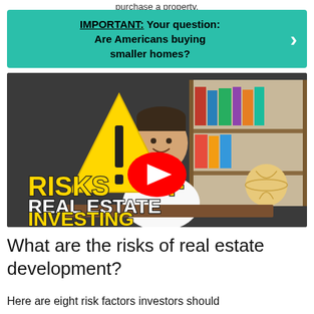purchase a property.
IMPORTANT: Your question: Are Americans buying smaller homes?
[Figure (screenshot): YouTube video thumbnail showing a man sitting at a desk with bookshelves behind him. Large yellow warning triangle with exclamation mark on the left. Bold yellow and white text reads 'RISKS OF REAL ESTATE INVESTING'. A red YouTube play button is centered over the image.]
What are the risks of real estate development?
Here are eight risk factors investors should